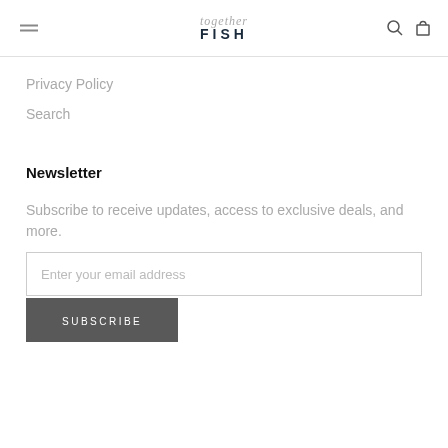FISH together (logo)
Privacy Policy
Search
Newsletter
Subscribe to receive updates, access to exclusive deals, and more.
Enter your email address
SUBSCRIBE